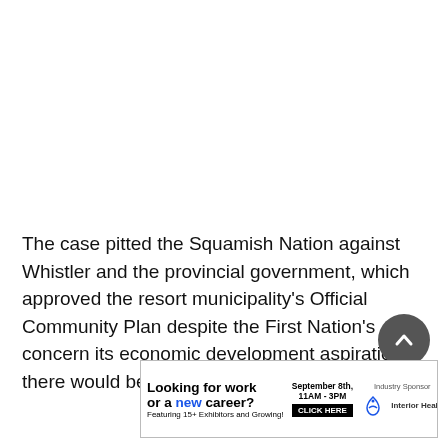The case pitted the Squamish Nation against Whistler and the provincial government, which approved the resort municipality's Official Community Plan despite the First Nation's concern its economic development aspirations there would be unreasonably constrained.
[Figure (other): Advertisement banner: 'Looking for work or a new career? Featuring 15+ Exhibitors and Growing! September 8th, 11AM - 3PM CLICK HERE. Industry Sponsor: Interior Health']